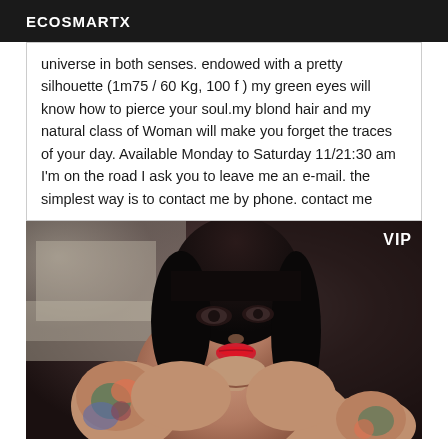ECOSMARTX
universe in both senses. endowed with a pretty silhouette (1m75 / 60 Kg, 100 f ) my green eyes will know how to pierce your soul.my blond hair and my natural class of Woman will make you forget the traces of your day. Available Monday to Saturday 11/21:30 am I'm on the road I ask you to leave me an e-mail. the simplest way is to contact me by phone. contact me
[Figure (photo): A woman with dark hair, red lipstick, and tattoos on her arms and shoulders, taking a selfie in a room. A 'VIP' label appears in the top right corner of the image.]